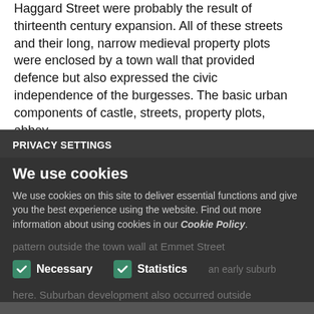Haggard Street were probably the result of thirteenth century expansion. All of these streets and their long, narrow medieval property plots were enclosed by a town wall that provided defence but also expressed the civic independence of the burgesses. The basic urban components of castle, streets, property plots, abbey and town walls were in place by c. 1200.
PRIVACY SETTINGS
We use cookies
We use cookies on this site to deliver essential functions and give you the best experience using the website. Find out more information about using cookies in our Cookie Policy.
The medieval burgage plot pattern is largely intact within the ACA in Navan Gate Street, High Street and
Necessary   Statistics
pattern outside the town wall at Emmet Street
SAVE PREFERENCES   ACCEPT ALL COOKIES
century.